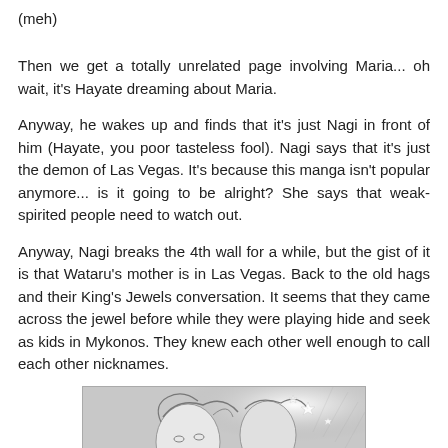(meh)
Then we get a totally unrelated page involving Maria... oh wait, it's Hayate dreaming about Maria.
Anyway, he wakes up and finds that it's just Nagi in front of him (Hayate, you poor tasteless fool). Nagi says that it's just the demon of Las Vegas. It's because this manga isn't popular anymore... is it going to be alright? She says that weak-spirited people need to watch out.
Anyway, Nagi breaks the 4th wall for a while, but the gist of it is that Wataru's mother is in Las Vegas. Back to the old hags and their King's Jewels conversation. It seems that they came across the jewel before while they were playing hide and seek as kids in Mykonos. They knew each other well enough to call each other nicknames.
[Figure (illustration): Manga panel showing anime-style characters with light effects]